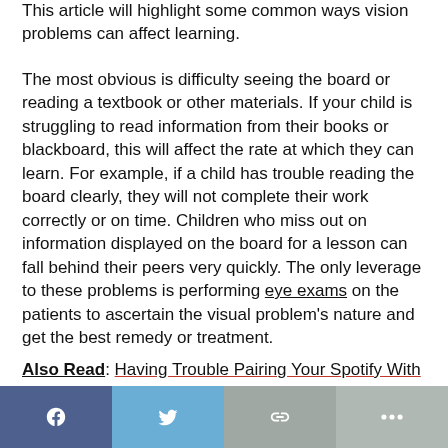This article will highlight some common ways vision problems can affect learning.
The most obvious is difficulty seeing the board or reading a textbook or other materials. If your child is struggling to read information from their books or blackboard, this will affect the rate at which they can learn. For example, if a child has trouble reading the board clearly, they will not complete their work correctly or on time. Children who miss out on information displayed on the board for a lesson can fall behind their peers very quickly. The only leverage to these problems is performing eye exams on the patients to ascertain the visual problem's nature and get the best remedy or treatment.
Also Read: Having Trouble Pairing Your Spotify With Other Devices, Here Is The Help
[Figure (infographic): Social share bar with four buttons: Facebook (dark blue), Twitter (light blue), Link/chain (gray), and More/ellipsis (gray)]